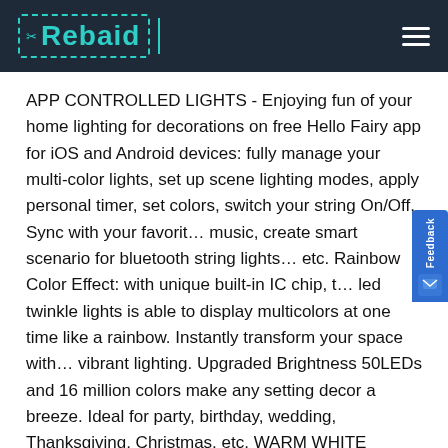Rebaid
APP CONTROLLED LIGHTS - Enjoying fun of your home lighting for decorations on free Hello Fairy app for iOS and Android devices: fully manage your multi-color lights, set up scene lighting modes, apply personal timer, set colors, switch your string On/Off, Sync with your favorite music, create smart scenario for bluetooth string lights, etc. Rainbow Color Effect: with unique built-in IC chip, the led twinkle lights is able to display multicolors at one time like a rainbow. Instantly transform your space with vibrant lighting. Upgraded Brightness 50LEDs and 16 million colors make any setting decor a breeze. Ideal for party, birthday, wedding, Thanksgiving, Christmas, etc. WARM WHITE LIGHTS COMPATIBLE - Different from other rgb fairy lights, these string lights not only have 16 millions colors lights but also have warm white lights. Music Sync: Built-in high sensitivity mic, real-time